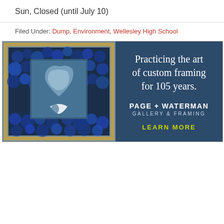Sun, Closed (until July 10)
Filed Under: Dump, Environment, Wellesley High School
[Figure (illustration): Advertisement for Page + Waterman Gallery & Framing featuring a framed blue artwork (appears to be a mixed media piece with a crescent moon motif on deep blue textured background). Right side has dark navy background with white serif text reading 'Practicing the art of custom framing for 105 years.' followed by 'PAGE + WATERMAN GALLERY & FRAMING' and 'LEARN MORE' in yellow-green.]